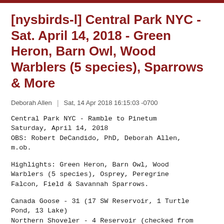[nysbirds-l] Central Park NYC - Sat. April 14, 2018 - Green Heron, Barn Owl, Wood Warblers (5 species), Sparrows & More
Deborah Allen | Sat, 14 Apr 2018 16:15:03 -0700
Central Park NYC - Ramble to Pinetum
Saturday, April 14, 2018
OBS: Robert DeCandido, PhD, Deborah Allen,
m.ob.
Highlights: Green Heron, Barn Owl, Wood Warblers (5 species), Osprey, Peregrine Falcon, Field & Savannah Sparrows.
Canada Goose - 31 (17 SW Reservoir, 1 Turtle Pond, 13 Lake)
Northern Shoveler - 4 Reservoir (checked from SW corner only)
Bufflehead - pair seen from SW corner Reservoir